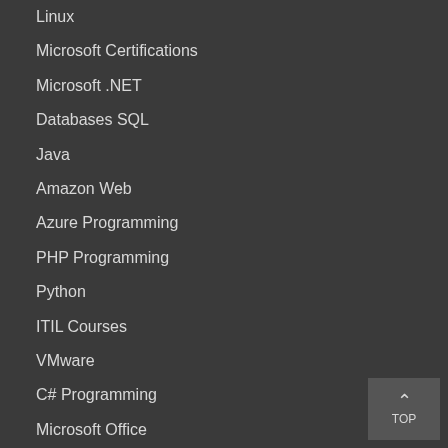Linux
Microsoft Certifications
Microsoft .NET
Databases SQL
Java
Amazon Web
Azure Programming
PHP Programming
Python
ITIL Courses
VMware
C# Programming
Microsoft Office
Graphics Design
Mobile App Development
Network Security
PMP Certification
Web Design